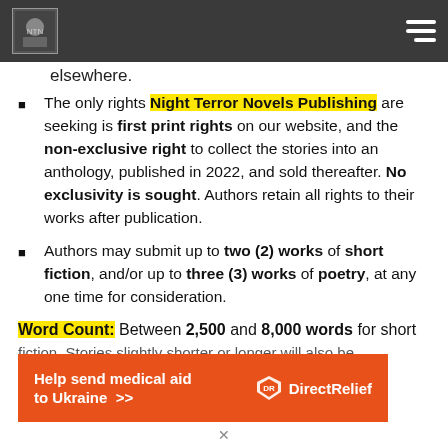Night Terror Novels Publishing — website header with logo and hamburger menu
elsewhere.
The only rights Night Terror Novels Publishing are seeking is first print rights on our website, and the non-exclusive right to collect the stories into an anthology, published in 2022, and sold thereafter. No exclusivity is sought. Authors retain all rights to their works after publication.
Authors may submit up to two (2) works of short fiction, and/or up to three (3) works of poetry, at any one time for consideration.
Word Count: Between 2,500 and 8,000 words for short fiction. Stories slightly shorter or longer will also be
[Figure (other): Orange advertisement banner: Help send medical aid to Ukraine >> with Direct Relief logo]